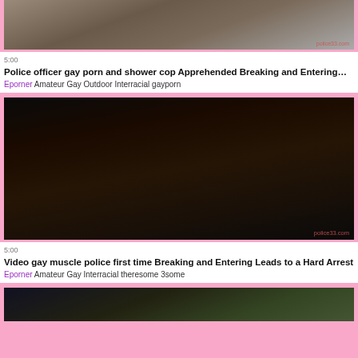[Figure (photo): Thumbnail image of outdoor scene, police33.com watermark]
5:00 Police officer gay porn and shower cop Apprehended Breaking and Entering… Eporner Amateur Gay Outdoor Interracial gayporn
[Figure (photo): Thumbnail image of indoor scene, police33.com watermark]
5:00 Video gay muscle police first time Breaking and Entering Leads to a Hard Arrest Eporner Amateur Gay Interracial theresome 3some
[Figure (photo): Partial thumbnail image at bottom of page]